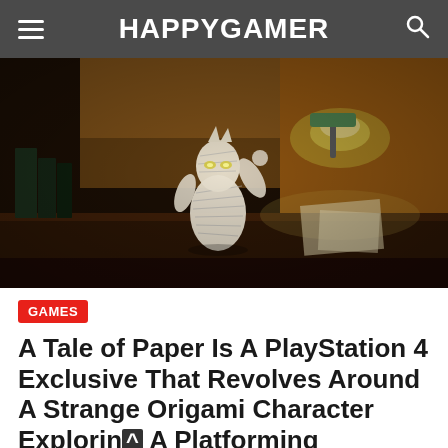HAPPYGAMER
[Figure (photo): A paper/origami character standing on a desk, with glowing eyes, surrounded by books and a desk lamp with warm yellow-green light. Dark, atmospheric scene.]
GAMES
A Tale of Paper Is A PlayStation 4 Exclusive That Revolves Around A Strange Origami Character Exploring A Platforming Adventure
Jun 21, 2020   Joshua Goodpastor   451   0